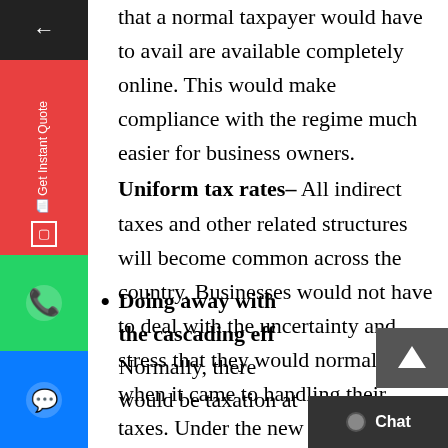that a normal taxpayer would have to avail are available completely online. This would make compliance with the regime much easier for business owners.
Uniform tax rates- All indirect taxes and other related structures will become common across the country. Businesses would not have to deal with the uncertainty and stress that they would normally face when it came to handling their taxes. Under the new GST scheme, no matter where the business was conducted, there would be a neutral tax system everywhere.
Doing away with the cascading eff... Normally, there would be taxation at